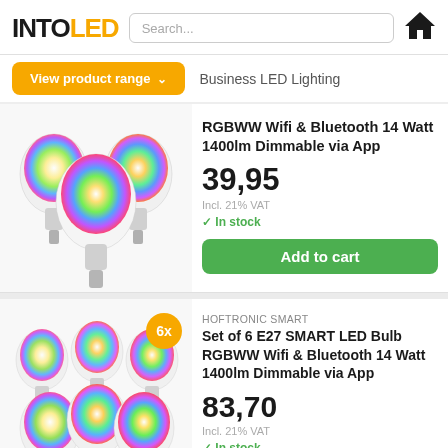[Figure (logo): INTOLED logo with INTO in black and LED in orange]
[Figure (screenshot): Search bar input field]
[Figure (illustration): Home icon]
View product range ˅
Business LED Lighting
[Figure (photo): Group of 3 E27 SMART LED RGB bulbs with colorful illumination]
RGBWW Wifi & Bluetooth 14 Watt 1400lm Dimmable via App
39,95
Incl. 21% VAT
In stock
Add to cart
[Figure (photo): Group of 6 E27 SMART LED RGB bulbs with colorful illumination and 6x badge]
HOFTRONIC SMART
Set of 6 E27 SMART LED Bulb RGBWW Wifi & Bluetooth 14 Watt 1400lm Dimmable via App
83,70
Incl. 21% VAT
In stock